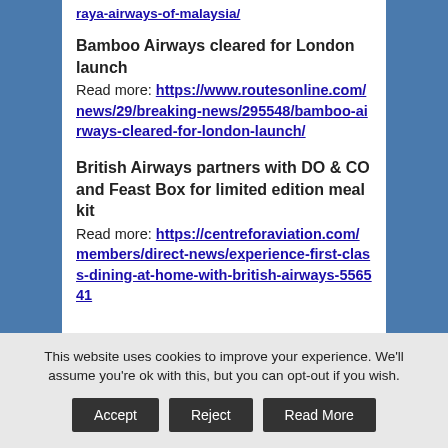raya-airways-of-malaysia/
Bamboo Airways cleared for London launch
Read more: https://www.routesonline.com/news/29/breaking-news/295548/bamboo-airways-cleared-for-london-launch/
British Airways partners with DO & CO and Feast Box for limited edition meal kit
Read more: https://centreforaviation.com/members/direct-news/experience-first-class-dining-at-home-with-british-airways-556541
This website uses cookies to improve your experience. We'll assume you're ok with this, but you can opt-out if you wish.